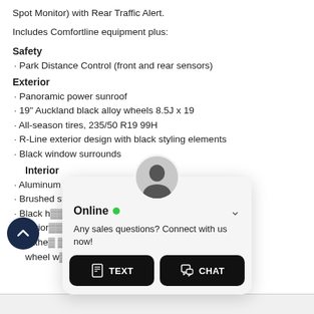Spot Monitor) with Rear Traffic Alert.
Includes Comfortline equipment plus:
Safety
• Park Distance Control (front and rear sensors)
Exterior
• Panoramic power sunroof
• 19" Auckland black alloy wheels 8.5J x 19
• All-season tires, 235/50 R19 99H
• R-Line exterior design with black styling elements
• Black window surrounds
Interior
• Aluminum door sills with "R-Line" logo
• Brushed stainless steel ...
• Black headliner
• Interior ... colours
• Leather ... ering wheel w...
[Figure (screenshot): Online chat widget overlay with TEXT and CHAT buttons, and a scroll-up button on the left]